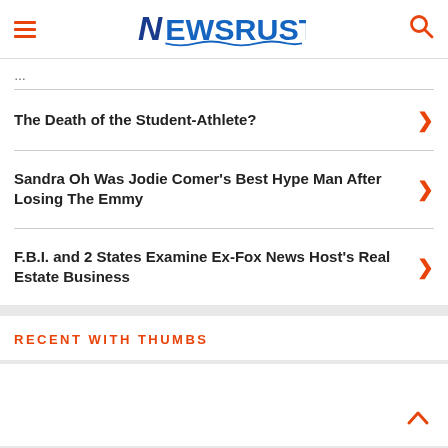NEWSRUST
The Death of the Student-Athlete?
Sandra Oh Was Jodie Comer's Best Hype Man After Losing The Emmy
F.B.I. and 2 States Examine Ex-Fox News Host's Real Estate Business
RECENT WITH THUMBS